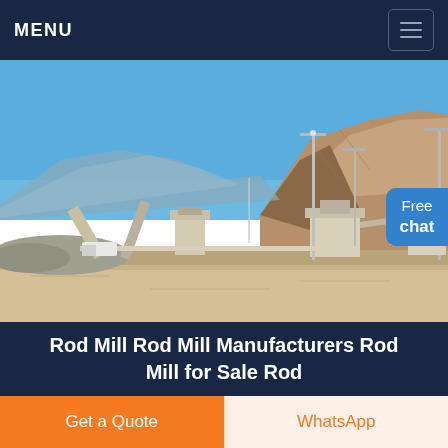MENU
[Figure (photo): Outdoor mining/quarry site with industrial crushing and processing equipment in the foreground, rocky mountain in the background under a clear blue sky. Conveyor belts, hoppers, and machinery visible on sandy ground.]
Rod Mill Rod Mill Manufacturers Rod Mill for Sale Rod
Get a Quote
WhatsApp